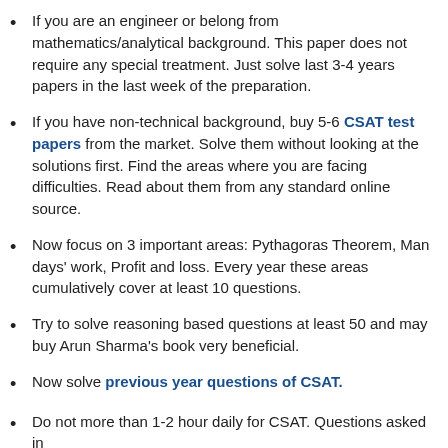If you are an engineer or belong from mathematics/analytical background. This paper does not require any special treatment. Just solve last 3-4 years papers in the last week of the preparation.
If you have non-technical background, buy 5-6 CSAT test papers from the market. Solve them without looking at the solutions first. Find the areas where you are facing difficulties. Read about them from any standard online source.
Now focus on 3 important areas: Pythagoras Theorem, Man days' work, Profit and loss. Every year these areas cumulatively cover at least 10 questions.
Try to solve reasoning based questions at least 50 and may buy Arun Sharma's book very beneficial.
Now solve previous year questions of CSAT.
Do not more than 1-2 hour daily for CSAT. Questions asked in